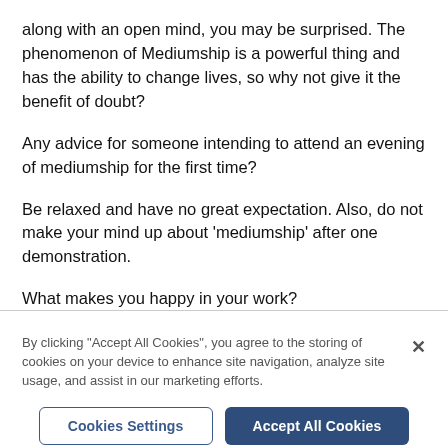along with an open mind, you may be surprised. The phenomenon of Mediumship is a powerful thing and has the ability to change lives, so why not give it the benefit of doubt?
Any advice for someone intending to attend an evening of mediumship for the first time?
Be relaxed and have no great expectation. Also, do not make your mind up about 'mediumship' after one demonstration.
What makes you happy in your work?
By clicking "Accept All Cookies", you agree to the storing of cookies on your device to enhance site navigation, analyze site usage, and assist in our marketing efforts.
Cookies Settings
Accept All Cookies